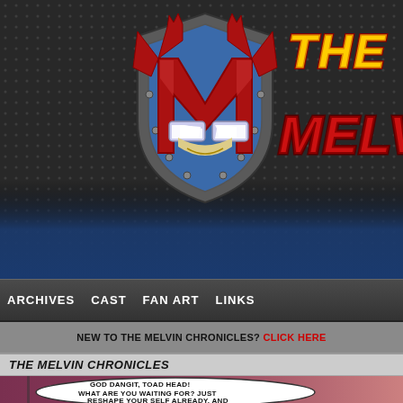[Figure (logo): The Melvin Chronicles website header with stylized superhero shield logo featuring an M, and yellow/red comic-style title text reading 'THE MELVIN' on dark dotted metallic background]
ARCHIVES   CAST   FAN ART   LINKS
NEW TO THE MELVIN CHRONICLES? CLICK HERE
THE MELVIN CHRONICLES
[Figure (illustration): Comic panel with pinkish-red background, speech bubble with text: GOD DANGIT, TOAD HEAD! WHAT ARE YOU WAITING FOR? JUST RESHAPE YOUR SELF ALREADY, AND]